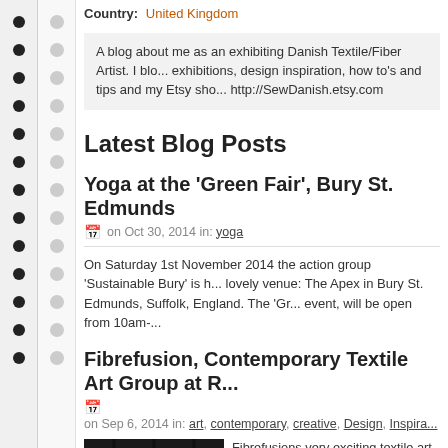Country: United Kingdom
A blog about me as an exhibiting Danish Textile/Fiber Artist. I blog about exhibitions, design inspiration, how to's and tips and my Etsy sho... http://SewDanish.etsy.com
Latest Blog Posts
Yoga at the 'Green Fair', Bury St. Edmunds
on Oct 30, 2014 in: yoga
On Saturday 1st November 2014 the action group 'Sustainable Bury' is h... lovely venue: The Apex in Bury St. Edmunds, Suffolk, England. The 'Gr... event, will be open from 10am-...
Fibrefusion, Contemporary Textile Art Group at R...
on Sep 6, 2014 in: art, contemporary, creative, Design, Inspira...
[Figure (photo): Interior photo of a textile art exhibition space with white walls and artwork displayed]
Fibrefusions very exciting textile art exhibitio... Rufford Craft Center will be on display until... exhibition opened about three weeks ago and...